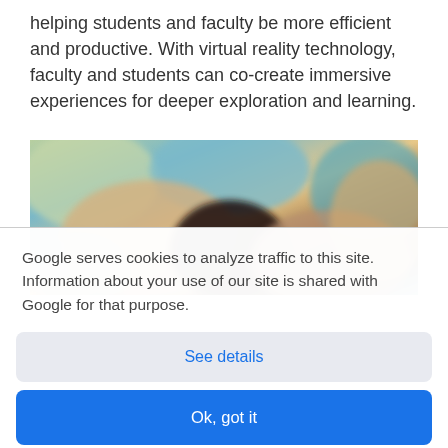helping students and faculty be more efficient and productive. With virtual reality technology, faculty and students can co-create immersive experiences for deeper exploration and learning.
[Figure (photo): A blurred photo showing a group of students in a classroom or educational setting, seen from above/behind.]
Google serves cookies to analyze traffic to this site. Information about your use of our site is shared with Google for that purpose.
See details
Ok, got it